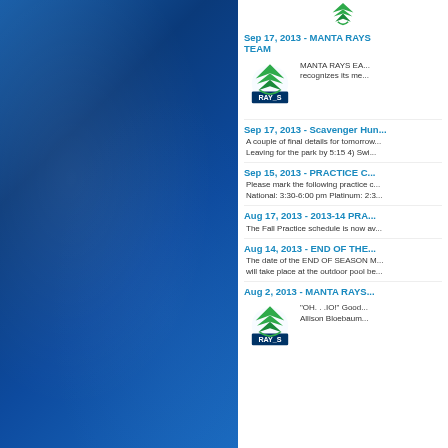[Figure (logo): Manta Rays swim team logo at top]
Sep 17, 2013 - MANTA RAYS TEAM
[Figure (logo): Manta Rays logo with text: MANTA RAYS EA... recognizes its me...]
Sep 17, 2013 - Scavenger Hun...
A couple of final details for tomorrow... Leaving for the park by 5:15 4) Swi...
Sep 15, 2013 - PRACTICE C...
Please mark the following practice c... National: 3:30-6:00 pm Platinum: 2:3...
Aug 17, 2013 - 2013-14 PRA...
The Fall Practice schedule is now av...
Aug 14, 2013 - END OF THE...
The date of the END OF SEASON M... will take place at the outdoor pool be...
Aug 2, 2013 - MANTA RAYS...
[Figure (logo): Manta Rays logo with text: OH. . .IO! Good... Allison Bloebaum...]